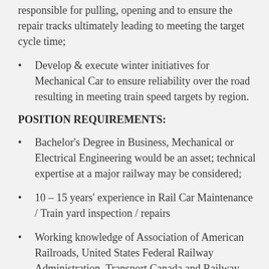responsible for pulling, opening and to ensure the repair tracks ultimately leading to meeting the target cycle time;
Develop & execute winter initiatives for Mechanical Car to ensure reliability over the road resulting in meeting train speed targets by region.
POSITION REQUIREMENTS:
Bachelor's Degree in Business, Mechanical or Electrical Engineering would be an asset; technical expertise at a major railway may be considered;
10 – 15 years' experience in Rail Car Maintenance / Train yard inspection / repairs
Working knowledge of Association of American Railroads, United States Federal Railway Administration, Transport Canada and Railway Association of Canada is preferred;